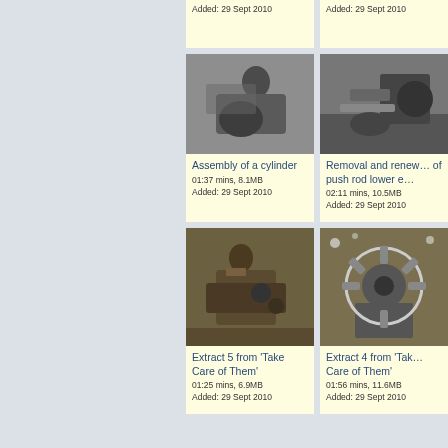Added: 29 Sept 2010
Added: 29 Sept 2010
[Figure (photo): Black and white photo of a person working on a cylinder, side profile view]
Assembly of a cylinder
01:37 mins, 8.1MB
Added: 29 Sept 2010
[Figure (photo): Black and white photo of machinery, showing removal and renewal of push rod lower end]
Removal and renewal of push rod lower e…
02:11 mins, 10.5MB
Added: 29 Sept 2010
[Figure (photo): Sepia-toned photo of a woman working on mechanical components, Extract 5 from Take Care of Them]
Extract 5 from 'Take Care of Them'
01:25 mins, 6.9MB
Added: 29 Sept 2010
[Figure (photo): Sepia-toned photo of a radial engine on a stand with lights in background, Extract 4 from Take Care of Them]
Extract 4 from 'Take Care of Them'
01:56 mins, 11.6MB
Added: 29 Sept 2010